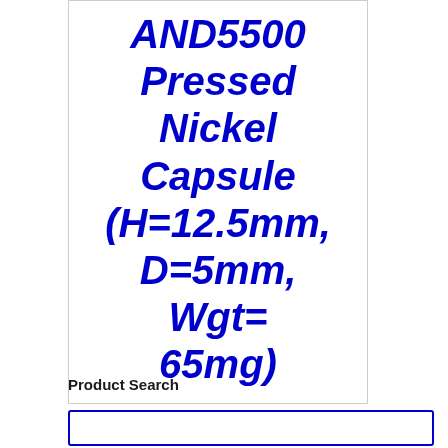AND5500 Pressed Nickel Capsule (H=12.5mm, D=5mm, Wgt=65mg)
Product Search